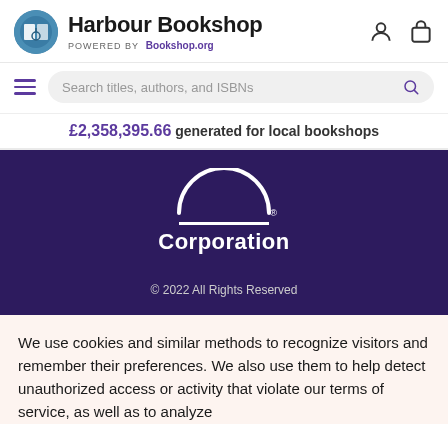Harbour Bookshop — POWERED BY Bookshop.org
Search titles, authors, and ISBNs
£2,358,395.66 generated for local bookshops
[Figure (logo): Bookshop.org Corporation logo — white arc and horizontal line on dark purple background, with registered trademark symbol. Text: Corporation]
© 2022 All Rights Reserved
We use cookies and similar methods to recognize visitors and remember their preferences. We also use them to help detect unauthorized access or activity that violate our terms of service, as well as to analyze